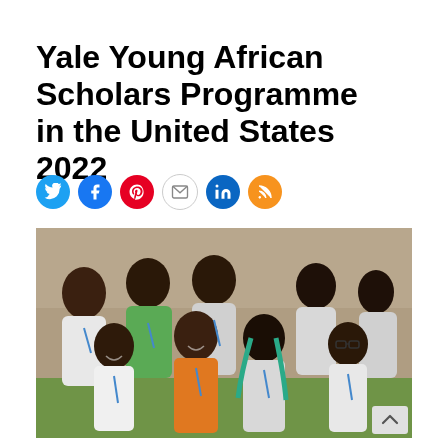Yale Young African Scholars Programme in the United States 2022
[Figure (other): Row of six social media share icons: Twitter (blue bird), Facebook (blue f), Pinterest (red P), Email (envelope outline), LinkedIn (blue in), RSS (orange radio waves)]
[Figure (photo): Group photo of approximately eight young African students wearing white Yale t-shirts with lanyards, smiling and posing together outdoors. One person in the center wears a green top and orange skirt. Another has teal braids. Background shows a building wall and grass.]